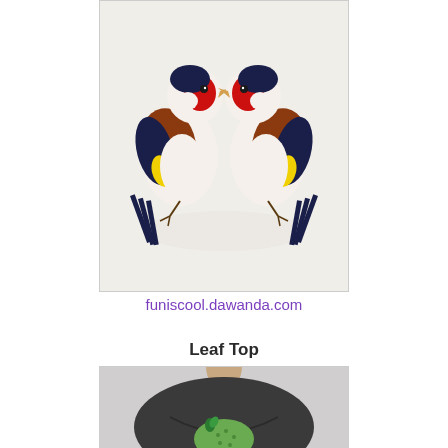[Figure (photo): Two colorful goldfinch bird brooches/pins facing each other on a light background. Birds have red faces, dark navy/black and brown bodies, and yellow wing patches.]
funiscool.dawanda.com
Leaf Top
[Figure (photo): A woman wearing a dark grey/charcoal top with a green polka-dot fabric element and a small leaf brooch or decoration at the center neckline.]